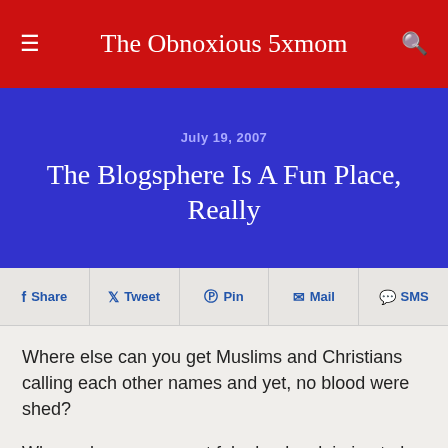The Obnoxious 5xmom
The Blogsphere Is A Fun Place, Really
July 19, 2007
Share  Tweet  Pin  Mail  SMS
Where else can you get Muslims and Christians calling each other names and yet, no blood were shed?
Where else can you get fake boobs claiming to be hot bloggers?
Where else can you find freaky family who cuntfused the...